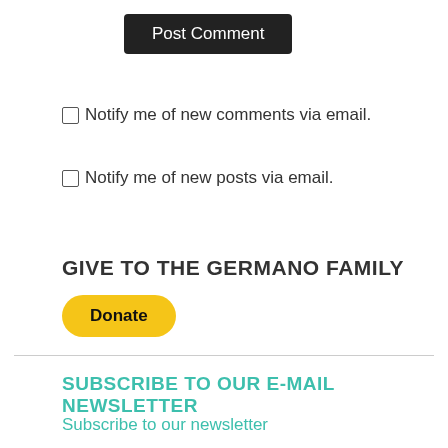Post Comment
Notify me of new comments via email.
Notify me of new posts via email.
GIVE TO THE GERMANO FAMILY
[Figure (other): Yellow PayPal Donate button with rounded corners]
SUBSCRIBE TO OUR E-MAIL NEWSLETTER
Subscribe to our newsletter